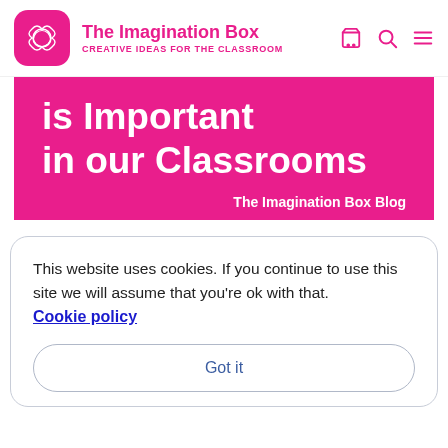The Imagination Box — CREATIVE IDEAS FOR THE CLASSROOM
is Important in our Classrooms
The Imagination Box Blog
This website uses cookies. If you continue to use this site we will assume that you're ok with that. Cookie policy
Got it